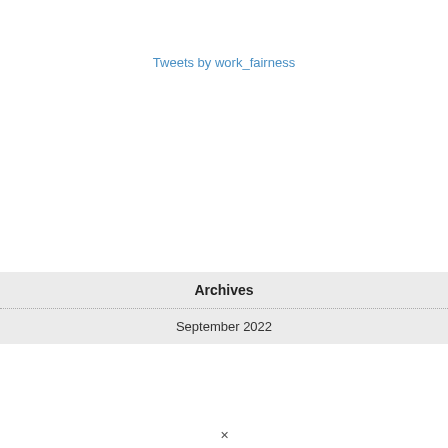Tweets by work_fairness
Archives
September 2022